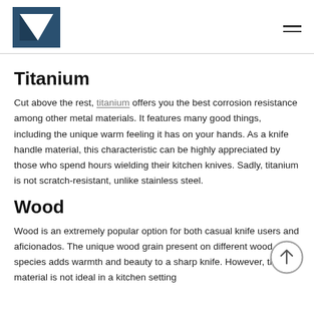Logo and navigation header
Titanium
Cut above the rest, titanium offers you the best corrosion resistance among other metal materials. It features many good things, including the unique warm feeling it has on your hands. As a knife handle material, this characteristic can be highly appreciated by those who spend hours wielding their kitchen knives. Sadly, titanium is not scratch-resistant, unlike stainless steel.
Wood
Wood is an extremely popular option for both casual knife users and aficionados. The unique wood grain present on different wood species adds warmth and beauty to a sharp knife. However, the material is not ideal in a kitchen setting